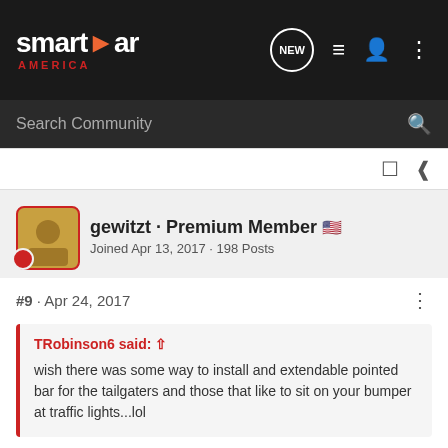[Figure (screenshot): Smart Car America website navigation bar with logo, NEW icon, list icon, user icon, and more options icon]
Search Community
gewitzt · Premium Member 🇺🇸
Joined Apr 13, 2017 · 198 Posts
#9 · Apr 24, 2017
TRobinson6 said: ↑
wish there was some way to install and extendable pointed bar for the tailgaters and those that like to sit on your bumper at traffic lights...lol
Put a bumper sticker on your back window: "My Lawyer Can Beat Up Your Lawyer."